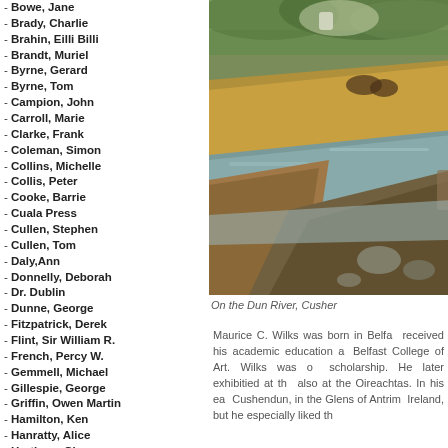- Bowe, Jane
- Brady, Charlie
- Brahin, Eilli Billi
- Brandt, Muriel
- Byrne, Gerard
- Byrne, Tom
- Campion, John
- Carroll, Marie
- Clarke, Frank
- Coleman, Simon
- Collins, Michelle
- Collis, Peter
- Cooke, Barrie
- Cuala Press
- Cullen, Stephen
- Cullen, Tom
- Daly,Ann
- Donnelly, Deborah
- Dr. Dublin
- Dunne, George
- Fitzpatrick, Derek
- Flint, Sir William R.
- French, Percy W.
- Gemmell, Michael
- Gillespie, George
- Griffin, Owen Martin
- Hamilton, Ken
- Hanratty, Alice
- Hartigan, Clare
- Hegarty, Gerard
- Hickey, Joby
- Hone, Evie
[Figure (photo): Painting of a river scene with rocky banks, water, and figures in a landscape, likely the Dun River at Cushendun]
On the Dun River, Cusher
Maurice C. Wilks was born in Belfast, received his academic education at Belfast College of Art. Wilks was on scholarship. He later exhibitied at the also at the Oireachtas. In his ea Cushendun, in the Glens of Antrim. Ireland, but he especially liked the